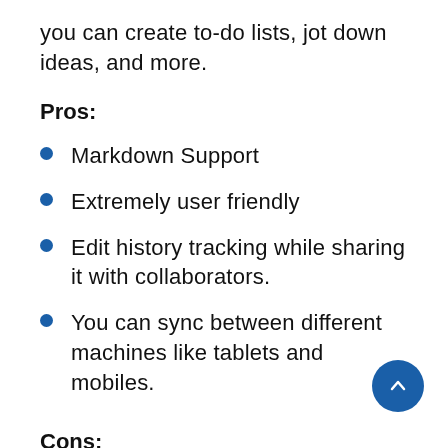you can create to-do lists, jot down ideas, and more.
Pros:
Markdown Support
Extremely user friendly
Edit history tracking while sharing it with collaborators.
You can sync between different machines like tablets and mobiles.
Cons:
The...